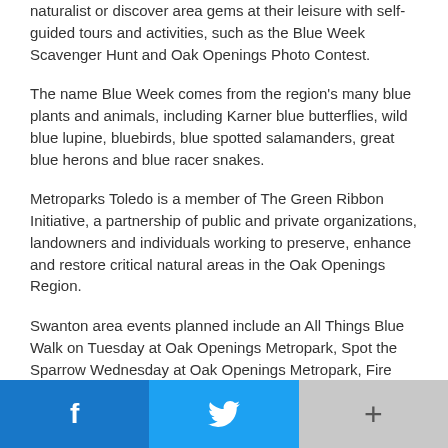naturalist or discover area gems at their leisure with self-guided tours and activities, such as the Blue Week Scavenger Hunt and Oak Openings Photo Contest.
The name Blue Week comes from the region's many blue plants and animals, including Karner blue butterflies, wild blue lupine, bluebirds, blue spotted salamanders, great blue herons and blue racer snakes.
Metroparks Toledo is a member of The Green Ribbon Initiative, a partnership of public and private organizations, landowners and individuals working to preserve, enhance and restore critical natural areas in the Oak Openings Region.
Swanton area events planned include an All Things Blue Walk on Tuesday at Oak Openings Metropark, Spot the Sparrow Wednesday at Oak Openings Metropark, Fire and American Indians program on Wednesday at Kitty Todd Nature Preserve, and the Sandhill Crane Wetlands grand opening on
Facebook | Twitter | More